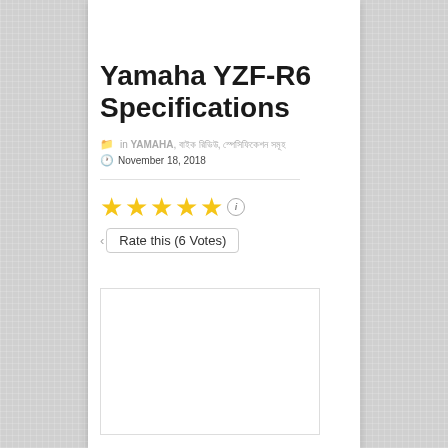Yamaha YZF-R6 Specifications
in YAMAHA, বাইক রিভিউ, স্পেসিফিকেশন সমূহ
November 18, 2018
[Figure (other): 5-star rating widget showing 5 gold stars with an info icon, and a 'Rate this (6 Votes)' tooltip/button below]
[Figure (photo): Empty white image placeholder box with a border]